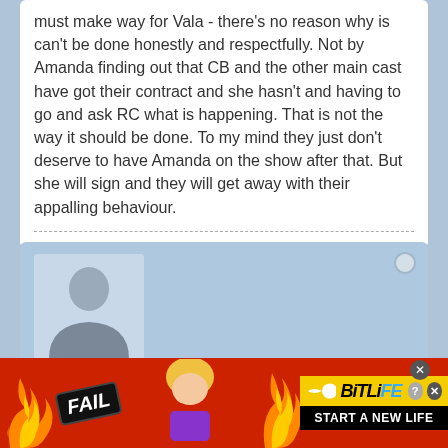must make way for Vala - there's no reason why is can't be done honestly and respectfully. Not by Amanda finding out that CB and the other main cast have got their contract and she hasn't and having to go and ask RC what is happening. That is not the way it should be done. To my mind they just don't deserve to have Amanda on the show after that. But she will sign and they will get away with their appalling behaviour.
[Figure (photo): Default user avatar - grey silhouette of a person on a light blue background]
Coley
Captain
[Figure (infographic): Green reputation bars (9 bars) indicating user rank/reputation]
[Figure (infographic): Advertisement banner for BitLife game - shows FAIL text, cartoon character, fire graphics, BitLife logo and START A NEW LIFE text on red background]